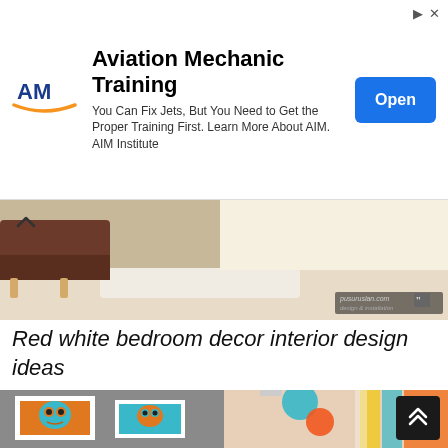[Figure (screenshot): Advertisement banner for Aviation Mechanic Training by AIM Institute. Shows AM logo on left, ad text in center, blue Open button on right.]
[Figure (photo): Interior room photo showing a brown leather chair, beige carpet, cardboard boxes stacked in the background. Watermark: pusuruslan.com]
Red white bedroom decor interior design ideas
[Figure (photo): Two-panel interior photo. Left panel: orange and teal owl art prints in white frames on gray wall. Right panel: colorful balloon lanterns hanging from ceiling, orange/yellow/teal curtains visible.]